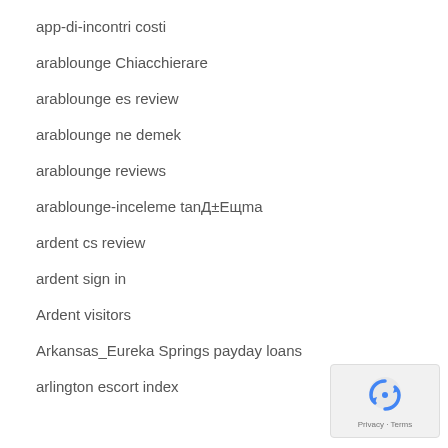app-di-incontri costi
arablounge Chiacchierare
arablounge es review
arablounge ne demek
arablounge reviews
arablounge-inceleme tanД±Eщma
ardent cs review
ardent sign in
Ardent visitors
Arkansas_Eureka Springs payday loans
arlington escort index
[Figure (logo): Google reCAPTCHA privacy badge with shield icon and Privacy · Terms text]